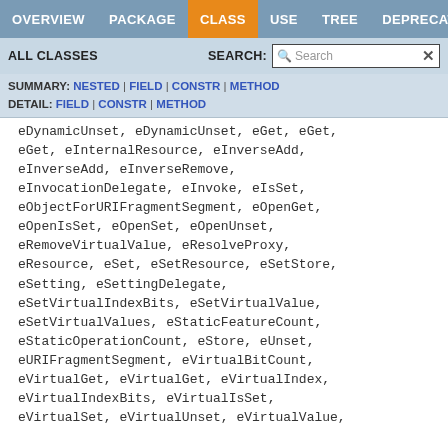OVERVIEW  PACKAGE  CLASS  USE  TREE  DEPRECATED
ALL CLASSES  SEARCH: [Search]
SUMMARY: NESTED | FIELD | CONSTR | METHOD
DETAIL: FIELD | CONSTR | METHOD
eDynamicUnset, eDynamicUnset, eGet, eGet, eGet, eInternalResource, eInverseAdd, eInverseAdd, eInverseRemove, eInvocationDelegate, eInvoke, eIsSet, eObjectForURIFragmentSegment, eOpenGet, eOpenIsSet, eOpenSet, eOpenUnset, eRemoveVirtualValue, eResolveProxy, eResource, eSet, eSetResource, eSetStore, eSetting, eSettingDelegate, eSetVirtualIndexBits, eSetVirtualValue, eSetVirtualValues, eStaticFeatureCount, eStaticOperationCount, eStore, eUnset, eURIFragmentSegment, eVirtualBitCount, eVirtualGet, eVirtualGet, eVirtualIndex, eVirtualIndexBits, eVirtualIsSet, eVirtualSet, eVirtualUnset, eVirtualValue, eVirtualValues